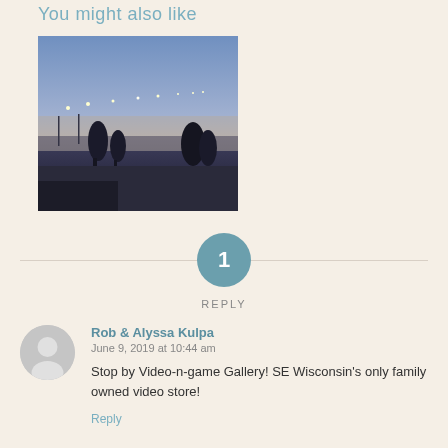You might also like
[Figure (photo): Nighttime winter landscape photo showing snow-covered ground with street lights and a blue-purple twilight sky]
1 REPLY
Rob & Alyssa Kulpa
June 9, 2019 at 10:44 am
Stop by Video-n-game Gallery! SE Wisconsin's only family owned video store!
Reply